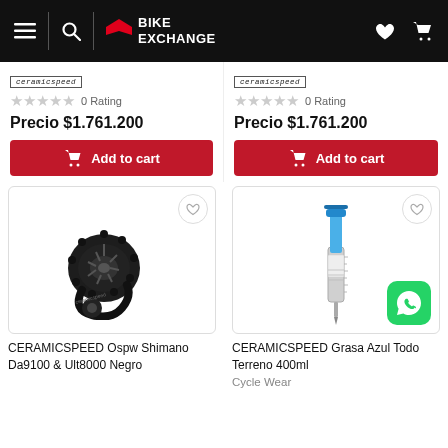BikeExchange navigation header
[Figure (screenshot): CeramicSpeed brand logo label (left column)]
0 Rating
Precio $1.761.200
Add to cart
[Figure (screenshot): CeramicSpeed brand logo label (right column)]
0 Rating
Precio $1.761.200
Add to cart
[Figure (photo): CERAMICSPEED Ospw Shimano Da9100 & Ult8000 Negro — black ceramic derailleur pulley wheel system]
[Figure (photo): CERAMICSPEED Grasa Azul Todo Terreno 400ml — blue syringe/grease product]
CERAMICSPEED Ospw Shimano Da9100 & Ult8000 Negro
CERAMICSPEED Grasa Azul Todo Terreno 400ml
Cycle Wear